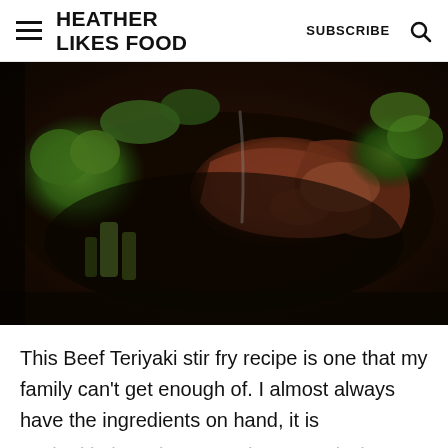HEATHER LIKES FOOD | SUBSCRIBE
[Figure (photo): Close-up overhead photo of beef teriyaki stir fry in a dark pan, showing slices of cooked beef, broccoli florets, and bok choy in a dark glossy teriyaki sauce]
This Beef Teriyaki stir fry recipe is one that my family can't get enough of. I almost always have the ingredients on hand, it is cooked in just about 30 minutes and who doesn't love a bowl of beef and veggies